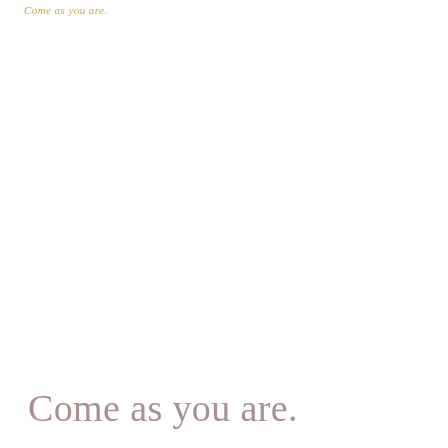Come as you are.
Come as you are.